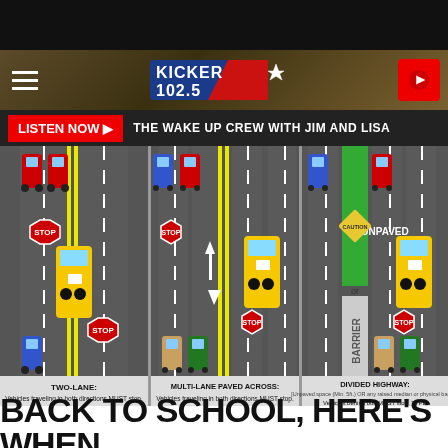[Figure (screenshot): Kicker 102.5 radio station website screenshot showing school bus stop law infographic with three scenarios: Two-Lane, Multi-Lane Paved Across, and Divided Highway, with LISTEN NOW bar and THE WAKE UP CREW WITH JIM AND LISA text]
BACK TO SCHOOL, HERE'S WHEN